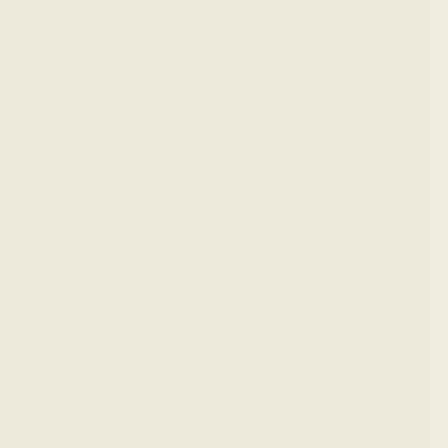|  | NC Accession | Gene | Description |
| --- | --- | --- | --- |
| ☐ | NC_010511 | M446_6873 | transcriptional regulator... |
| ☐ | NC_012792 | Vapar_5695 | transcriptional regulator family... |
| ☐ | NC_008781 | Pnap_3143 | MarR family transcriptional regulator... |
| ☐ | NC_010002 | Daci_3704 | MarR family transcriptional regulator... |
| ☐ | NC_007511 | Bcep18194_B0421 | MarR family transcriptional regulator... |
| ☐ | NC_010552 | BamMC406_5123 | MarR family transcriptional regulator... |
| ☐ | NC_010002 | Daci_1353 | MarR family transcriptional regulator... |
| ☐ | NC_010515 | Bcenmc03_5030 | MarR family transcriptional regulator... |
| ☐ | NC_010524 | Lcho_1828 | MarR family transcriptional regulator... |